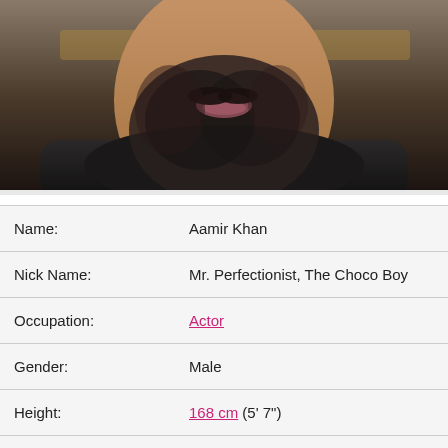[Figure (photo): Close-up photo of a bearded man (Aamir Khan), lower half of face visible, dark beard, dark clothing, blurred background]
| Field | Value |
| --- | --- |
| Name: | Aamir Khan |
| Nick Name: | Mr. Perfectionist, The Choco Boy |
| Occupation: | Actor |
| Gender: | Male |
| Height: | 168 cm (5' 7") |
| Birth Day: | March 14, 1965 |
| Age: | 55 |
| Birth Place: | Mumbai, India |
| Zodiac Sign: | Pi... |